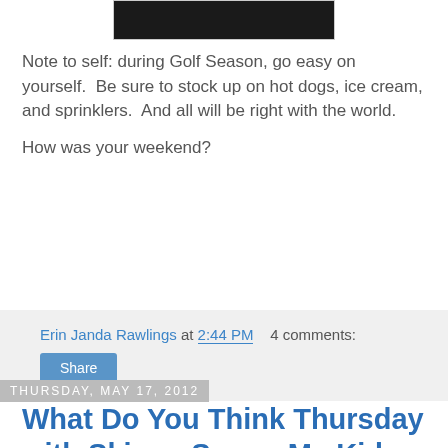[Figure (photo): Dark/black rectangular image at the top of the page, partially visible]
Note to self: during Golf Season, go easy on yourself.  Be sure to stock up on hot dogs, ice cream, and sprinklers.  And all will be right with the world.
How was your weekend?
Erin Janda Rawlings at 2:44 PM    4 comments:
Share
Thursday, May 17, 2012
What Do You Think Thursday with Skinny Scoop My Kid Friendly To Do List for New York City